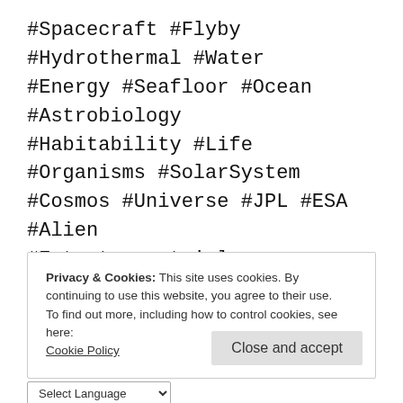#Spacecraft #Flyby #Hydrothermal #Water #Energy #Seafloor #Ocean #Astrobiology #Habitability #Life #Organisms #SolarSystem #Cosmos #Universe #JPL #ESA #Alien #Extraterrestrial #Infographic
Lars Fosdal   Science & Research   Leave a comment   October 29, 2015   2 Minutes
Privacy & Cookies: This site uses cookies. By continuing to use this website, you agree to their use.
To find out more, including how to control cookies, see here:
Cookie Policy
Close and accept
Select Language